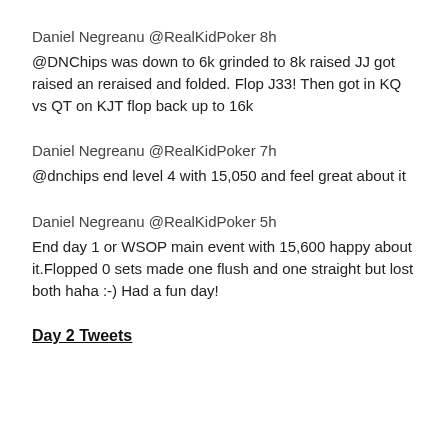Daniel Negreanu @RealKidPoker 8h
@DNChips was down to 6k grinded to 8k raised JJ got raised an reraised and folded. Flop J33! Then got in KQ vs QT on KJT flop back up to 16k
Daniel Negreanu @RealKidPoker 7h
@dnchips end level 4 with 15,050 and feel great about it
Daniel Negreanu @RealKidPoker 5h
End day 1 or WSOP main event with 15,600 happy about it.Flopped 0 sets made one flush and one straight but lost both haha :-) Had a fun day!
Day 2 Tweets